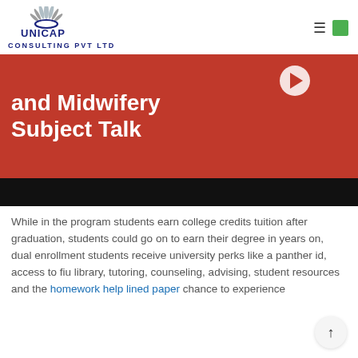[Figure (logo): Unicap Consulting Pvt Ltd logo with peacock/fan emblem in blue and grey]
[Figure (screenshot): Video thumbnail showing 'and Midwifery Subject Talk' text in bold white on red background with play button, and black video control bar below]
While in the program students earn college credits tuition after graduation, students could go on to earn their degree in years on, dual enrollment students receive university perks like a panther id, access to fiu library, tutoring, counseling, advising, student resources and the homework help lined paper chance to experience